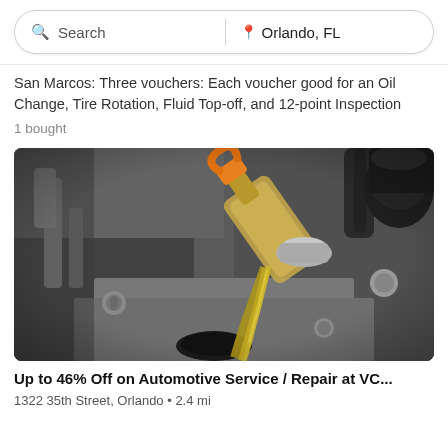Search | Orlando, FL
San Marcos: Three vouchers: Each voucher good for an Oil Change, Tire Rotation, Fluid Top-off, and 12-point Inspection
1 bought
[Figure (photo): Close-up photo of motor oil being poured from a yellow/orange-capped bottle into a car engine oil reservoir, with engine components visible in the background.]
Up to 46% Off on Automotive Service / Repair at VC...
1322 35th Street, Orlando • 2.4 mi